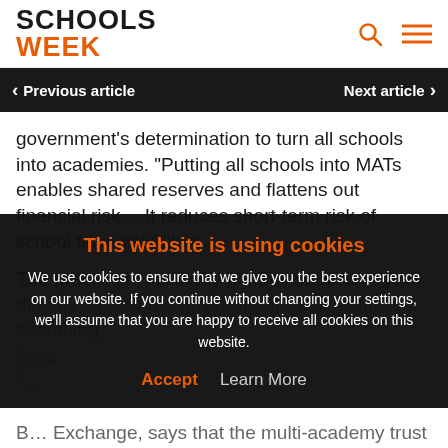SCHOOLS WEEK
< Previous article    Next article >
government's determination to turn all schools into academies. “Putting all schools into MATs enables shared reserves and flattens out financial risk… It reduces short-term risk of school financial failure.”
The practice is politically controversial as it goes directly against the government’s claims that becoming an academy offers freedom… have “… ”
This website is using cookies
We use cookies to ensure that we give you the best experience on our website. If you continue without changing your settings, we’ll assume that you are happy to receive all cookies on this website.
Accept    Learn More